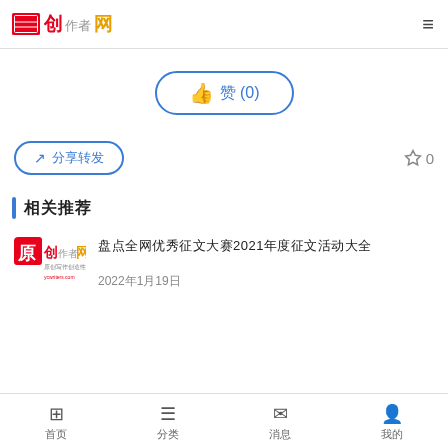创作网 ☰
👍 赞 (0)
分享转发 ☆ 0
相关推荐
盘点全网优秀征文大赛2021年度征文活动大全
[Figure (logo): 创作网原创logo with ycwriters.com]
2022年1月19日
首页 分类 消息 我的